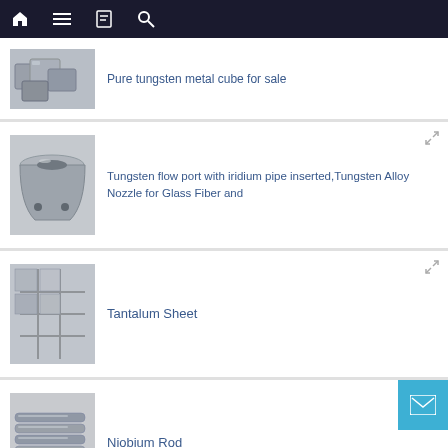Navigation bar with home, menu, bookmarks, and search icons
Pure tungsten metal cube for sale
Tungsten flow port with iridium pipe inserted,Tungsten Alloy Nozzle for Glass Fiber and
Tantalum Sheet
Niobium Rod